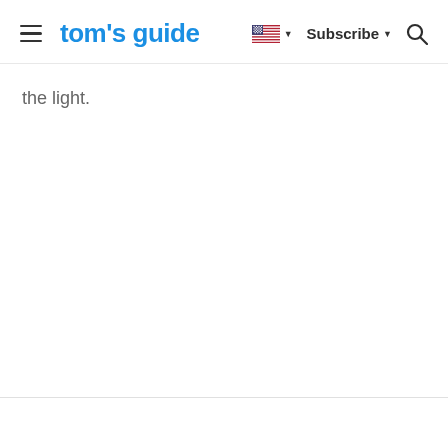tom's guide | Subscribe
the light.